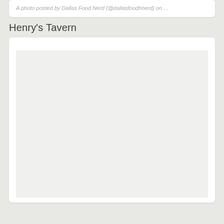A photo posted by Dallas Food Nerd (@dallasfoodhnerd) on …
Henry's Tavern
[Figure (photo): A large white/light gray rectangular photo placeholder area inside a white card, representing a photo posted for Henry's Tavern restaurant.]